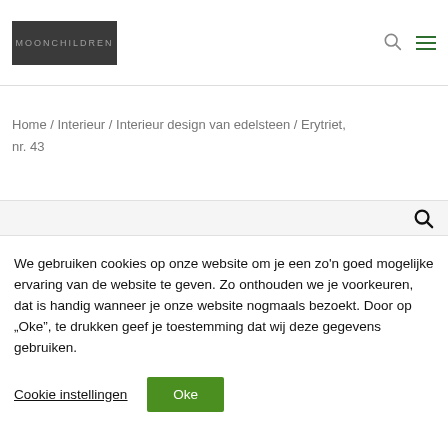MOONCHILDREN
Home / Interieur / Interieur design van edelsteen / Erytriet, nr. 43
We gebruiken cookies op onze website om je een zo'n goed mogelijke ervaring van de website te geven. Zo onthouden we je voorkeuren, dat is handig wanneer je onze website nogmaals bezoekt. Door op „Oke”, te drukken geef je toestemming dat wij deze gegevens gebruiken.
Cookie instellingen
Oke